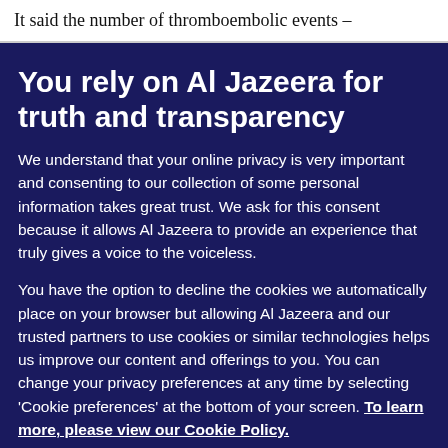It said the number of thromboembolic events –
You rely on Al Jazeera for truth and transparency
We understand that your online privacy is very important and consenting to our collection of some personal information takes great trust. We ask for this consent because it allows Al Jazeera to provide an experience that truly gives a voice to the voiceless.
You have the option to decline the cookies we automatically place on your browser but allowing Al Jazeera and our trusted partners to use cookies or similar technologies helps us improve our content and offerings to you. You can change your privacy preferences at any time by selecting 'Cookie preferences' at the bottom of your screen. To learn more, please view our Cookie Policy.